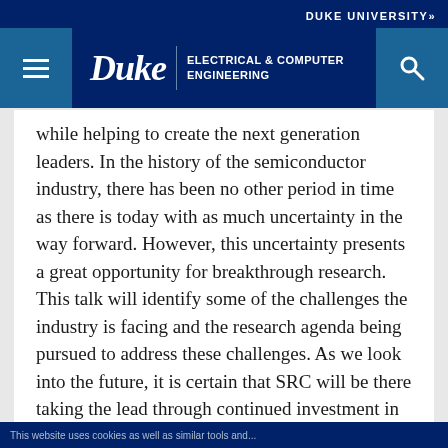DUKE UNIVERSITY»
[Figure (logo): Duke Electrical & Computer Engineering navigation bar with hamburger menu icon, Duke wordmark, department name, and search icon on dark blue background]
while helping to create the next generation leaders. In the history of the semiconductor industry, there has been no other period in time as there is today with as much uncertainty in the way forward. However, this uncertainty presents a great opportunity for breakthrough research. This talk will identify some of the challenges the industry is facing and the research agenda being pursued to address these challenges. As we look into the future, it is certain that SRC will be there taking the lead through continued investment in university research creating opportunities for industry renewal.
This website uses cookies as well as similar tools and...